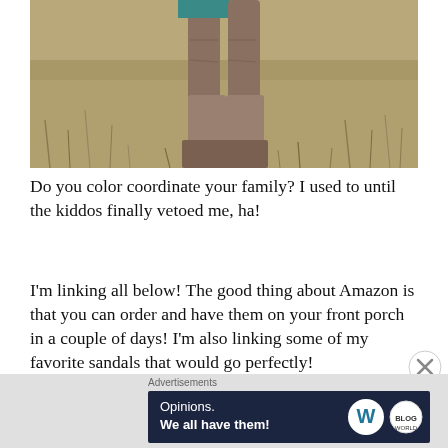[Figure (photo): Photo showing the lower half of a person standing on dried grass, wearing tall brown/tan leather boots over a teal dress. Only legs and boots visible from knee down.]
Do you color coordinate your family? I used to until the kiddos finally vetoed me, ha!
I'm linking all below! The good thing about Amazon is that you can order and have them on your front porch in a couple of days! I'm also linking some of my favorite sandals that would go perfectly!
[Figure (screenshot): Advertisement banner with dark navy background. Left side reads 'Opinions. We all have them!' in white text. Right side shows WordPress logo (W in circle) and another circular logo.]